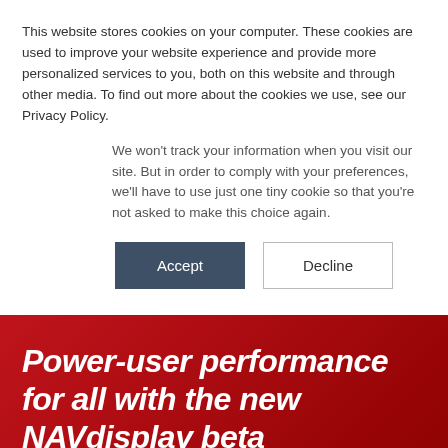This website stores cookies on your computer. These cookies are used to improve your website experience and provide more personalized services to you, both on this website and through other media. To find out more about the cookies we use, see our Privacy Policy.
We won't track your information when you visit our site. But in order to comply with your preferences, we'll have to use just one tiny cookie so that you're not asked to make this choice again.
Accept | Decline
Power-user performance for all with the new NAVdisplay beta
Product News   January 7, 2...